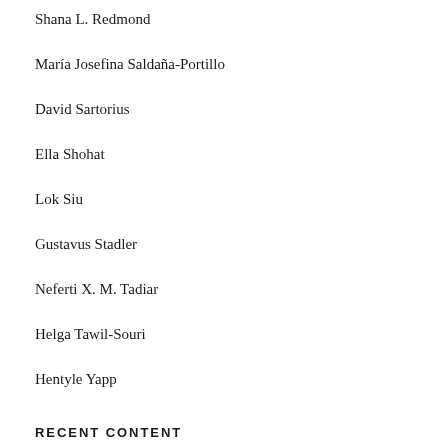Shana L. Redmond
María Josefina Saldaña-Portillo
David Sartorius
Ella Shohat
Lok Siu
Gustavus Stadler
Neferti X. M. Tadiar
Helga Tawil-Souri
Hentyle Yapp
RECENT CONTENT